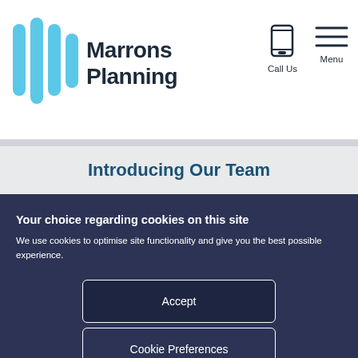[Figure (logo): Marrons Planning logo with blue vertical bars icon and bold dark text]
Call Us
Menu
Introducing Our Team
Your choice regarding cookies on this site
We use cookies to optimise site functionality and give you the best possible experience.
Accept
Cookie Preferences